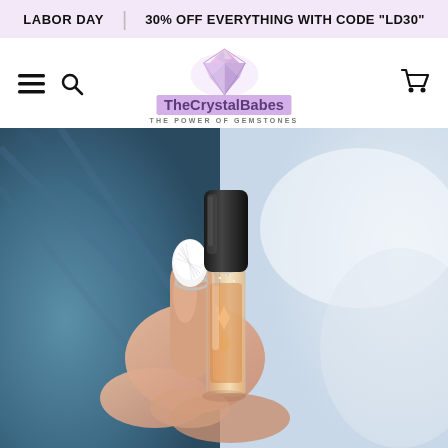LABOR DAY | 30% OFF EVERYTHING WITH CODE "LD30"
[Figure (logo): TheCrystalBabes logo with diamond gemstone graphic and tagline THE POWER OF GEMSTONES]
[Figure (photo): Close-up photo of a hand holding a small crystal roller bottle with an amber/orange liquid, wearing a silver ring and white sparkle nail art, with blue denim and white fabric in background]